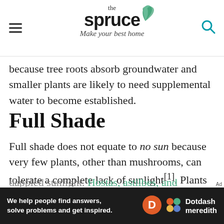the spruce — Make your best home
because tree roots absorb groundwater and smaller plants are likely to need supplemental water to become established.
Full Shade
Full shade does not equate to no sun because very few plants, other than mushrooms, can tolerate a complete lack of sunlight[1]. Plants that require full shade are those that can survive with four hours of full sunlight mostly in the morning or late afternoon or a full day of dappled sunlight. Hostas, astilbes, and hostas...
[Figure (logo): Dotdash Meredith advertisement banner at the bottom: 'We help people find answers, solve problems and get inspired.' with Dotdash Meredith logo.]